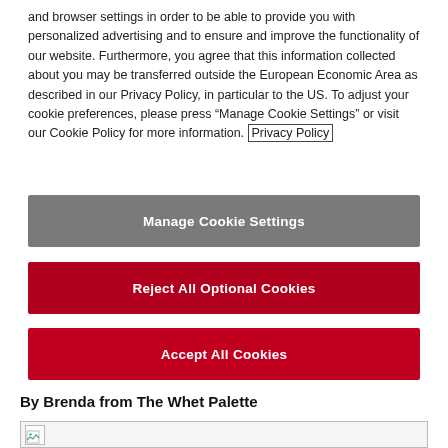and browser settings in order to be able to provide you with personalized advertising and to ensure and improve the functionality of our website. Furthermore, you agree that this information collected about you may be transferred outside the European Economic Area as described in our Privacy Policy, in particular to the US. To adjust your cookie preferences, please press “Manage Cookie Settings” or visit our Cookie Policy for more information. Privacy Policy
Manage Cookie Settings
Reject All Optional Cookies
Accept All Cookies
By Brenda from The Whet Palette
[Figure (photo): Image placeholder with broken image icon]